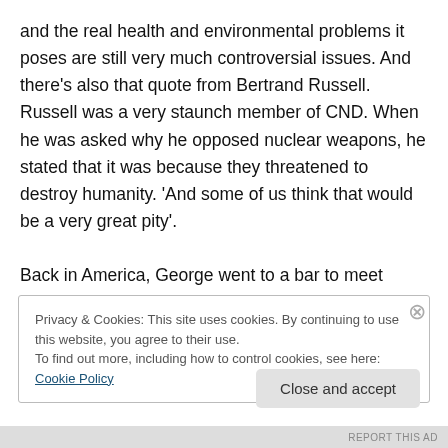and the real health and environmental problems it poses are still very much controversial issues. And there's also that quote from Bertrand Russell. Russell was a very staunch member of CND. When he was asked why he opposed nuclear weapons, he stated that it was because they threatened to destroy humanity. 'And some of us think that would be a very great pity'.

Back in America, George went to a bar to meet Alpha, a robot created by a British inventor/showman in 1932. Alpha was claimed to be an autonomous robot, answering
Privacy & Cookies: This site uses cookies. By continuing to use this website, you agree to their use.
To find out more, including how to control cookies, see here: Cookie Policy